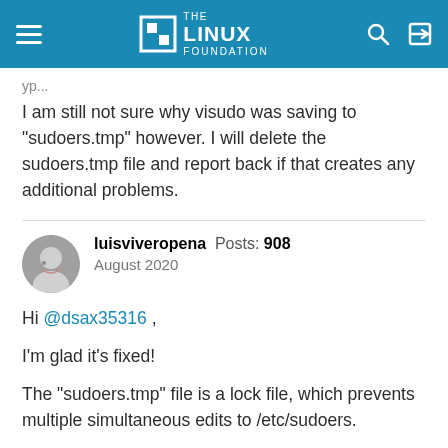[Figure (screenshot): The Linux Foundation website header/navigation bar with hamburger menu, logo, search icon, and login icon on a teal/blue background]
I am still not sure why visudo was saving to "sudoers.tmp" however. I will delete the sudoers.tmp file and report back if that creates any additional problems.
luisviveropena  Posts: 908
August 2020
Hi @dsax35316 ,
I'm glad it's fixed!
The "sudoers.tmp" file is a lock file, which prevents multiple simultaneous edits to /etc/sudoers.
Regards,